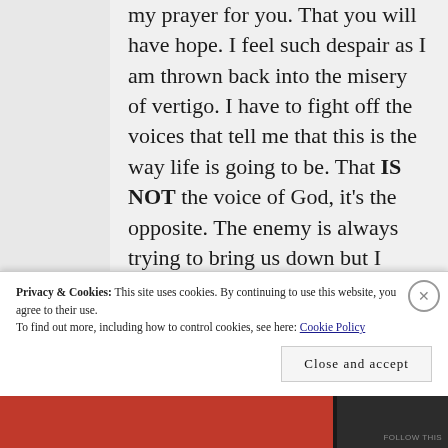my prayer for you. That you will have hope. I feel such despair as I am thrown back into the misery of vertigo. I have to fight off the voices that tell me that this is the way life is going to be. That IS NOT the voice of God, it's the opposite. The enemy is always trying to bring us down but I KNOW for certain that there are better
Privacy & Cookies: This site uses cookies. By continuing to use this website, you agree to their use.
To find out more, including how to control cookies, see here: Cookie Policy
Close and accept